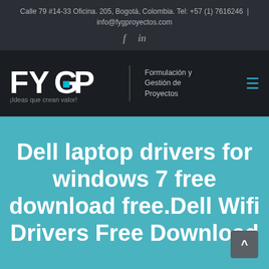Calle 79 #14-33 Oficina. 205, Bogotá, Colombia. Tel: +57 (1) 7616246  |  info@fygproyectos.com
[Figure (logo): FYGP logo with text 'Formulación y Gestión de Proyectos' and tagline '¡Ideas que crean valor!']
Dell laptop drivers for windows 7 free download free.Dell Wifi Drivers Free Download